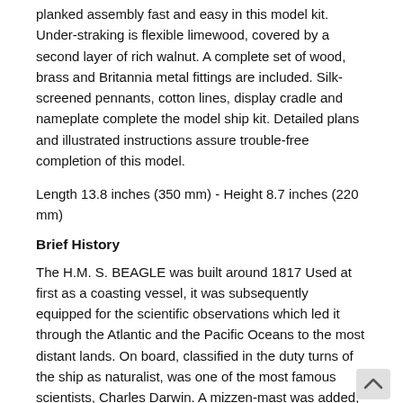planked assembly fast and easy in this model kit. Under-straking is flexible limewood, covered by a second layer of rich walnut. A complete set of wood, brass and Britannia metal fittings are included. Silk-screened pennants, cotton lines, display cradle and nameplate complete the model ship kit. Detailed plans and illustrated instructions assure trouble-free completion of this model.
Length 13.8 inches (350 mm) - Height 8.7 inches (220 mm)
Brief History
The H.M. S. BEAGLE was built around 1817 Used at first as a coasting vessel, it was subsequently equipped for the scientific observations which led it through the Atlantic and the Pacific Oceans to the most distant lands. On board, classified in the duty turns of the ship as naturalist, was one of the most famous scientists, Charles Darwin. A mizzen-mast was added, so that the ship could be more easily